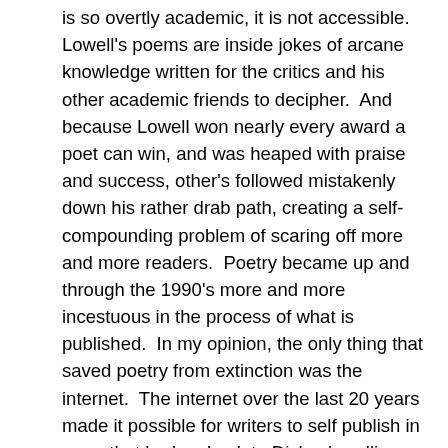is so overtly academic, it is not accessible.  Lowell's poems are inside jokes of arcane knowledge written for the critics and his other academic friends to decipher.  And because Lowell won nearly every award a poet can win, and was heaped with praise and success, other's followed mistakenly down his rather drab path, creating a self-compounding problem of scaring off more and more readers.  Poetry became up and through the 1990's more and more incestuous in the process of what is published.  In my opinion, the only thing that saved poetry from extinction was the internet.  The internet over the last 20 years made it possible for writers to self publish in ways that harken back to Dicken's selling single page periodicals in the streets.  Anyone willing to set up a blog and willing to write could access the world.
I honestly believe more people on the planet are reading poetry than ever before, though you wouldn't know it to look at the poetry section in your local bookstore, that is